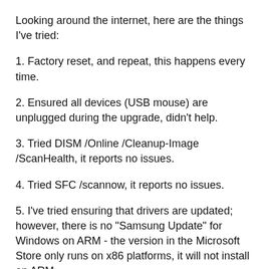Looking around the internet, here are the things I've tried:
1. Factory reset, and repeat, this happens every time.
2. Ensured all devices (USB mouse) are unplugged during the upgrade, didn't help.
3. Tried DISM /Online /Cleanup-Image /ScanHealth, it reports no issues.
4. Tried SFC /scannow, it reports no issues.
5. I've tried ensuring that drivers are updated; however, there is no "Samsung Update" for Windows on ARM - the version in the Microsoft Store only runs on x86 platforms, it will not install on ARM.
6. I've tried using the Windows 10 Upgrade Assistant; however, it refuses to run on ARM, with